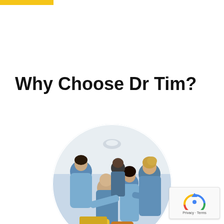Why Choose Dr Tim?
[Figure (photo): Circular photo of a group of medical professionals in blue scrubs/lab coats gathered around a patient or procedure table in a clinical setting. A bald male doctor is at the center, with several colleagues including women with dark hair and a blonde woman looking on.]